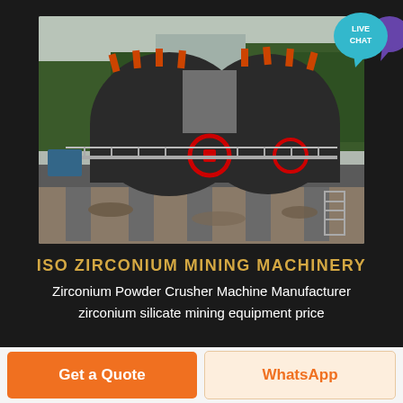[Figure (photo): Large industrial mining crusher machine mounted on elevated concrete supports, photographed outdoors with trees in background. Two large black crusher heads visible with red circular markings and orange spikes on top. Metal walkway/railing in middle level.]
ISO ZIRCONIUM MINING MACHINERY
Zirconium Powder Crusher Machine Manufacturer
zirconium silicate mining equipment price
Get a Quote
WhatsApp